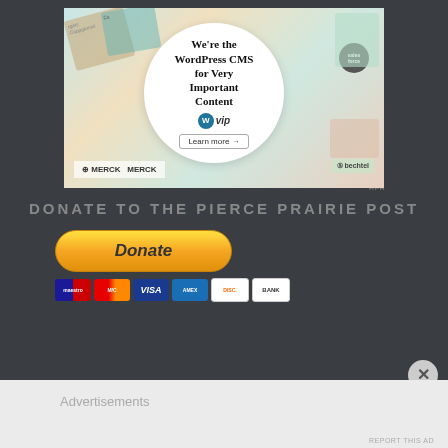[Figure (screenshot): WordPress VIP advertisement showing a circular logo/text area saying 'We're the WordPress CMS for Very Important Content' with WP VIP logo and 'Learn more' button, surrounded by various brand tiles including Merck, Salesforce, Bechtel, and Cappgemini on a colorful mosaic background]
REPORT THIS AD
DONATE TO THE PIERCE PRAIRIE POST
[Figure (screenshot): PayPal Donate button in yellow/orange gradient color with payment method icons below: Maestro, Mastercard, Visa, American Express, Discover, and Bank]
Advertisements
REPORT THIS AD